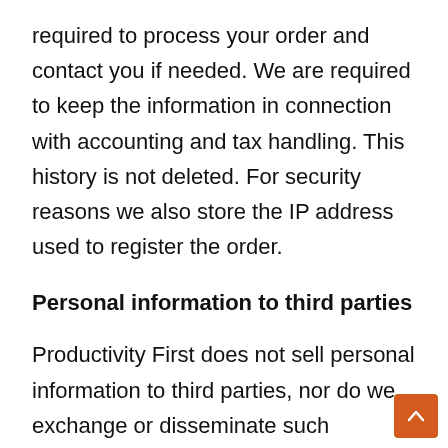required to process your order and contact you if needed. We are required to keep the information in connection with accounting and tax handling. This history is not deleted. For security reasons we also store the IP address used to register the order.
Personal information to third parties
Productivity First does not sell personal information to third parties, nor do we exchange or disseminate such information with third parties. Outsiders can only get access to the information if this is required to perform specific services for Productivity First. In such cases, strict agreements are entered into to